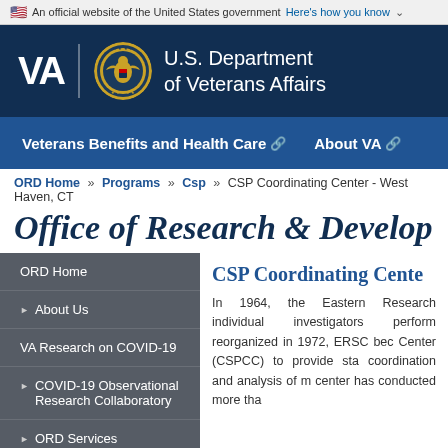An official website of the United States government Here's how you know
[Figure (logo): VA - U.S. Department of Veterans Affairs logo with seal]
Veterans Benefits and Health Care | About VA
ORD Home » Programs » Csp » CSP Coordinating Center - West Haven, CT
Office of Research & Develop
ORD Home
▶ About Us
VA Research on COVID-19
▶ COVID-19 Observational Research Collaboratory
▶ ORD Services
▼ ORD Programs
CSP Coordinating Cente
In 1964, the Eastern Research individual investigators perform reorganized in 1972, ERSC bec Center (CSPCC) to provide sta coordination and analysis of m center has conducted more tha